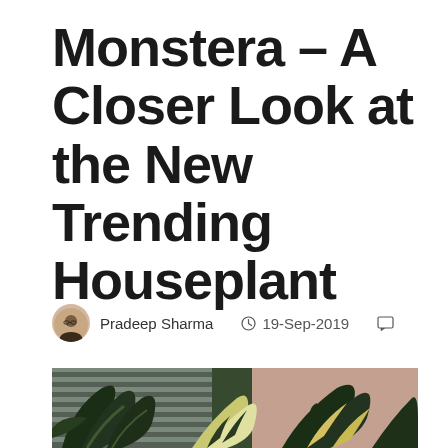Monstera – A Closer Look at the New Trending Houseplant
Pradeep Sharma  19-Sep-2019
[Figure (photo): Two Monstera plants side by side — one with dark green variegated leaves on the left and one with cream and green variegated Monstera leaves on the right, in an indoor setting with window blinds in the background.]